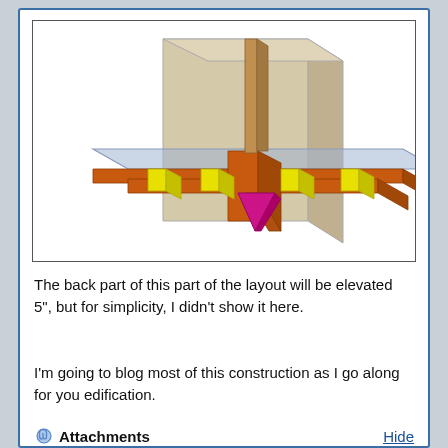[Figure (engineering-diagram): 3D isometric CAD diagram showing a model railroad layout structure with a large beige/tan vertical wall panel, a transparent blue-grey horizontal deck/surface on top, orange horizontal beams beneath the deck, yellow vertical support blocks/risers between the beams, a diagonal brown diagonal brace, and a magenta/pink triangular support bracket near the center base.]
The back part of this part of the layout will be elevated 5", but for simplicity, I didn't show it here.
I'm going to blog most of this construction as I go along for you edification.
📎 Attachments    Hide